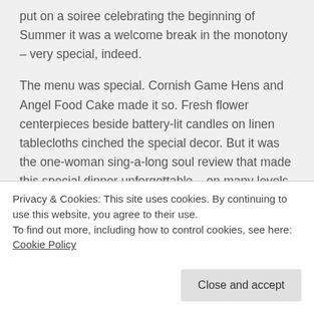put on a soiree celebrating the beginning of Summer it was a welcome break in the monotony – very special, indeed.
The menu was special. Cornish Game Hens and Angel Food Cake made it so. Fresh flower centerpieces beside battery-lit candles on linen tablecloths cinched the special decor. But it was the one-woman sing-a-long soul review that made this special dinner unforgettable... on many levels
Privacy & Cookies: This site uses cookies. By continuing to use this website, you agree to their use.
To find out more, including how to control cookies, see here: Cookie Policy